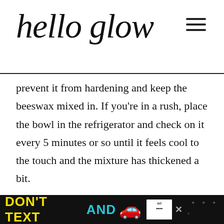hello glow
prevent it from hardening and keep the beeswax mixed in. If you're in a rush, place the bowl in the refrigerator and check on it every 5 minutes or so until it feels cool to the touch and the mixture has thickened a bit.

Measure out your lavender hydrosol, and
[Figure (screenshot): NHTSA advertisement banner: DON'T TEXT AND [car emoji] ad NHTSA logo]